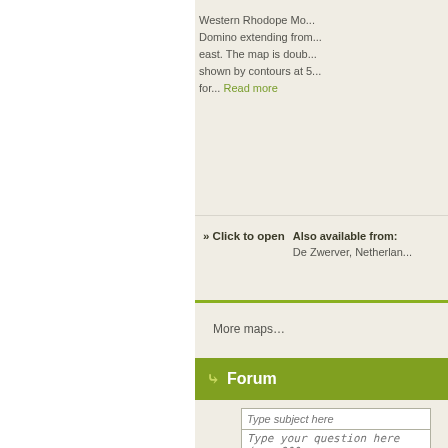Western Rhodope Mo... Domino extending from... east. The map is doub... shown by contours at 5... for... Read more
» Click to open
Also available from:
De Zwerver, Netherlan...
More maps…
Forum
Type subject here
Type your question here (max 800 c...